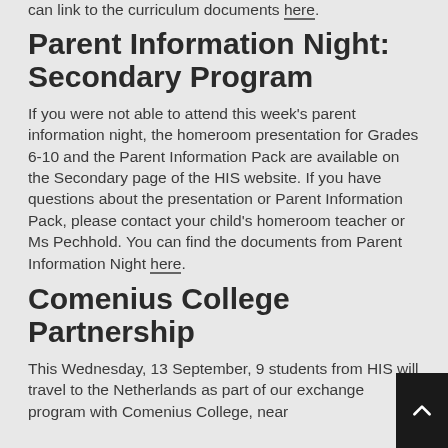can link to the curriculum documents here.
Parent Information Night: Secondary Program
If you were not able to attend this week's parent information night, the homeroom presentation for Grades 6-10 and the Parent Information Pack are available on the Secondary page of the HIS website. If you have questions about the presentation or Parent Information Pack, please contact your child's homeroom teacher or Ms Pechhold. You can find the documents from Parent Information Night here.
Comenius College Partnership
This Wednesday, 13 September, 9 students from HIS will travel to the Netherlands as part of our exchange program with Comenius College, near